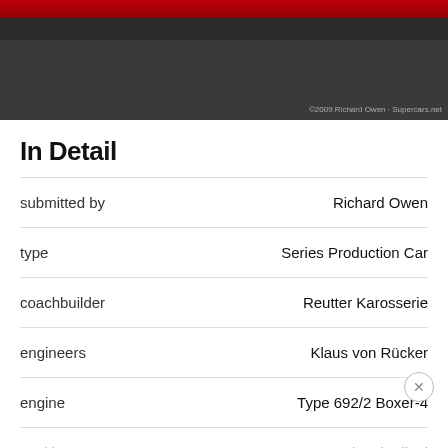[Figure (photo): Bottom of a car / undercarriage over asphalt road surface, with red accent at top and photo credit text]
In Detail
| Field | Value |
| --- | --- |
| submitted by | Richard Owen |
| type | Series Production Car |
| coachbuilder | Reutter Karosserie |
| engineers | Klaus von Rücker |
| engine | Type 692/2 Boxer-4 |
| position | Rear longitudinal |